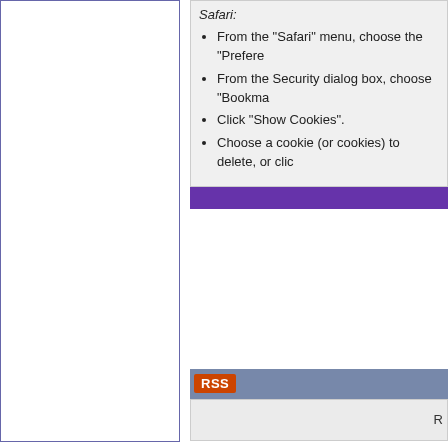Safari:
From the "Safari" menu, choose the "Prefere...
From the Security dialog box, choose "Bookma...
Click "Show Cookies".
Choose a cookie (or cookies) to delete, or clic...
RSS